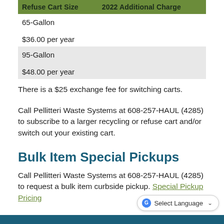| Refuse Cart Size | 2022 Additional Charge |
| --- | --- |
| 65-Gallon | $36.00 per year |
| 95-Gallon | $48.00 per year |
There is a $25 exchange fee for switching carts.
Call Pellitteri Waste Systems at 608-257-HAUL (4285) to subscribe to a larger recycling or refuse cart and/or switch out your existing cart.
Bulk Item Special Pickups
Call Pellitteri Waste Systems at 608-257-HAUL (4285) to request a bulk item curbside pickup. Special Pickup Pricing